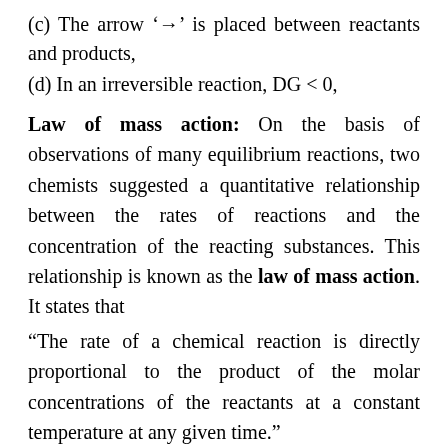(c) The arrow '→' is placed between reactants and products,
(d) In an irreversible reaction, DG < 0,
Law of mass action: On the basis of observations of many equilibrium reactions, two chemists suggested a quantitative relationship between the rates of reactions and the concentration of the reacting substances. This relationship is known as the law of mass action. It states that
“The rate of a chemical reaction is directly proportional to the product of the molar concentrations of the reactants at a constant temperature at any given time.”
The Law of mass action states that the rate of any